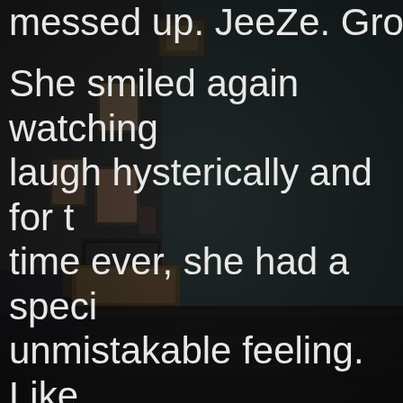[Figure (photo): Dark, dimly lit interior room with vintage furniture, framed pictures on a dark wall, an old television set, and a wooden floor. The scene is moody and atmospheric.]
messed up. JeeZe. Gross.
She smiled again watching laugh hysterically and for t time ever, she had a speci unmistakable feeling. Like in her chest. This was her child. Something happene heart.